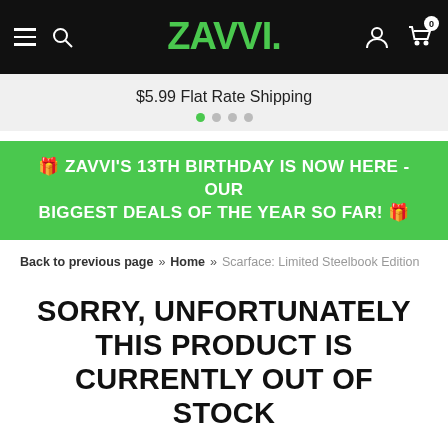ZAVVI. navigation bar with hamburger, search, logo, user icon, cart (0)
$5.99 Flat Rate Shipping
🎁 ZAVVI'S 13TH BIRTHDAY IS NOW HERE - OUR BIGGEST DEALS OF THE YEAR SO FAR! 🎁
Back to previous page » Home » Scarface: Limited Steelbook Edition
SORRY, UNFORTUNATELY THIS PRODUCT IS CURRENTLY OUT OF STOCK
OTHER CUSTOMERS PURCHASED INSTEAD